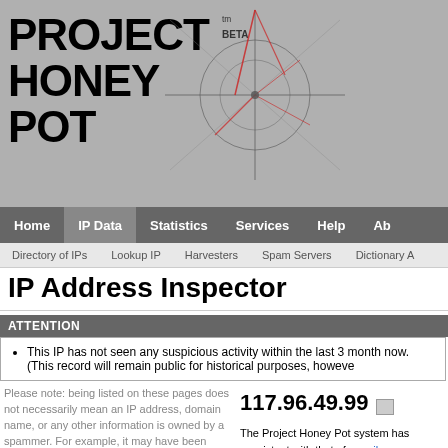[Figure (logo): Project Honey Pot logo with crosshair/spider graphic and tm BETA text]
Home | IP Data | Statistics | Services | Help | Ab
Directory of IPs | Lookup IP | Harvesters | Spam Servers | Dictionary A
IP Address Inspector
ATTENTION
This IP has not seen any suspicious activity within the last 3 months now. (This record will remain public for historical purposes, however
Please note: being listed on these pages does not necessarily mean an IP address, domain name, or any other information is owned by a spammer. For example, it may have been hijacked from its true owner and used by a spammer.

Want to keep this IP address off your website? Start taking advantage of http:BL.
117.96.49.99

The Project Honey Pot system has consistent with that of a mail server associated with this IP. This interrela aids in law enforcement efforts. If yo comment.

Lookup IP In: Domain Tools | SpamHaus | Sp